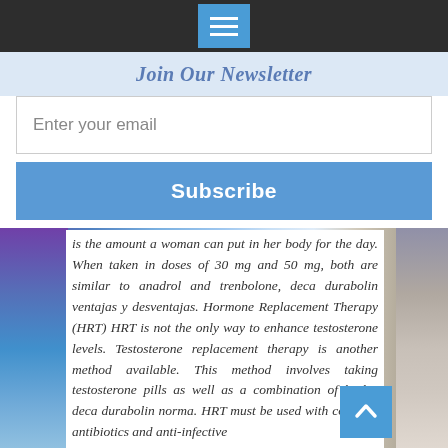[Figure (screenshot): Dark top navigation bar with hamburger menu icon button in blue]
Join Our Newsletter
Enter your email
Subscribe
is the amount a woman can put in her body for the day. When taken in doses of 30 mg and 50 mg, both are similar to anadrol and trenbolone, deca durabolin ventajas y desventajas. Hormone Replacement Therapy (HRT) HRT is not the only way to enhance testosterone levels. Testosterone replacement therapy is another method available. This method involves taking testosterone pills as well as a combination of herbs, deca durabolin norma. HRT must be used with common antibiotics and anti-infective